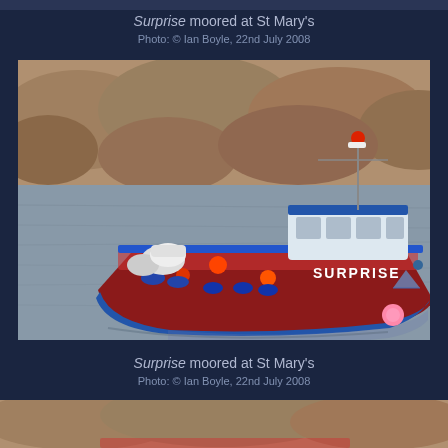Surprise moored at St Mary's
Photo: © Ian Boyle, 22nd July 2008
[Figure (photo): A red and blue boat named SURPRISE moored in a harbour. Rocky shoreline visible in the background. Orange buoys attached to the side of the boat. The boat has a white cabin/wheelhouse. Calm grey water reflects the boat.]
Surprise moored at St Mary's
Photo: © Ian Boyle, 22nd July 2008
[Figure (photo): Partial view of a rocky shoreline, bottom portion of a second photo showing rocks and possibly the boat.]